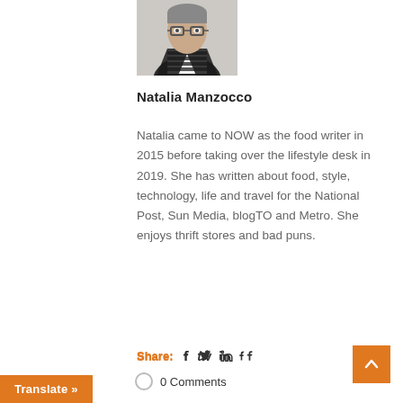[Figure (photo): Headshot photo of Natalia Manzocco, a woman with short hair and glasses wearing a striped shirt and black jacket]
Natalia Manzocco
Natalia came to NOW as the food writer in 2015 before taking over the lifestyle desk in 2019. She has written about food, style, technology, life and travel for the National Post, Sun Media, blogTO and Metro. She enjoys thrift stores and bad puns.
Share: [facebook] [twitter] [linkedin] [tumblr]
0 Comments